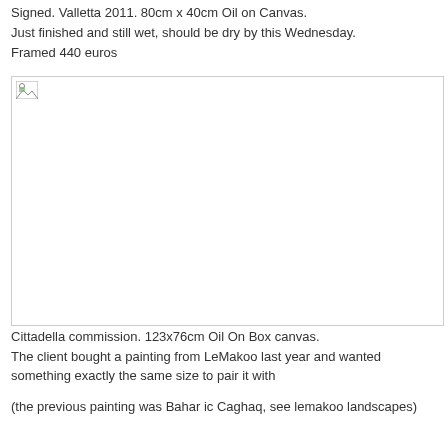Signed. Valletta 2011. 80cm x 40cm Oil on Canvas.
Just finished and still wet, should be dry by this Wednesday.
Framed 440 euros
[Figure (photo): Broken image placeholder (image failed to load)]
Cittadella commission. 123x76cm Oil On Box canvas.
The client bought a painting from LeMakoo last year and wanted something exactly the same size to pair it with
(the previous painting was Bahar ic Caghaq, see lemakoo landscapes)